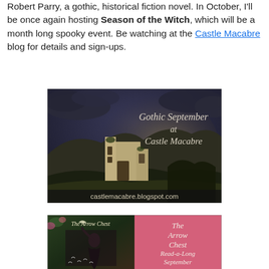Robert Parry, a gothic, historical fiction novel. In October, I'll be once again hosting Season of the Witch, which will be a month long spooky event. Be watching at the Castle Macabre blog for details and sign-ups.
[Figure (illustration): Dark atmospheric image of a ruined gothic castle/church under stormy skies. Text overlay reads 'Gothic September at Castle Macabre' and bottom text reads 'castlemacabre.blogspot.com']
[Figure (illustration): Book cover image for 'The Arrow Chest' showing a woman in dark clothing, alongside a pink panel reading 'The Arrow Chest Read-a-Long September']